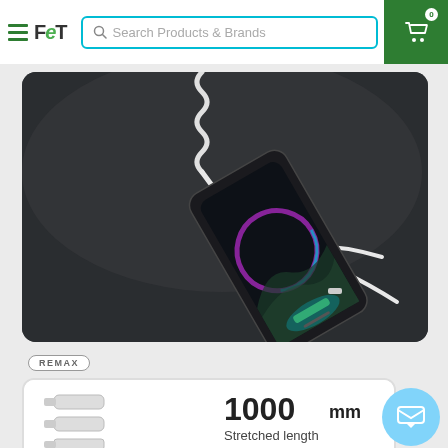FCT - Search Products & Brands - Navigation Header
[Figure (photo): Product photo showing a white multi-connector charging cable (3-in-1) connected to a dark smartphone on a dark background. The phone screen shows a glowing circular charging indicator.]
REMAX
[Figure (photo): Product listing card showing white USB cables with connectors and text '1000mm Stretched length']